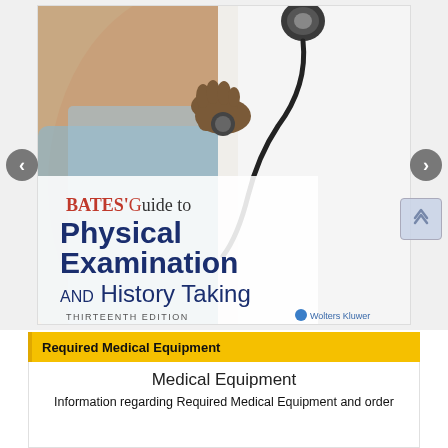[Figure (photo): Book cover of 'Bates' Guide to Physical Examination and History Taking, Thirteenth Edition' published by Wolters Kluwer. Shows a doctor using a stethoscope on a patient. Title text in red and dark blue on white background portion of cover.]
Required Medical Equipment
Medical Equipment
Information regarding Required Medical Equipment and order